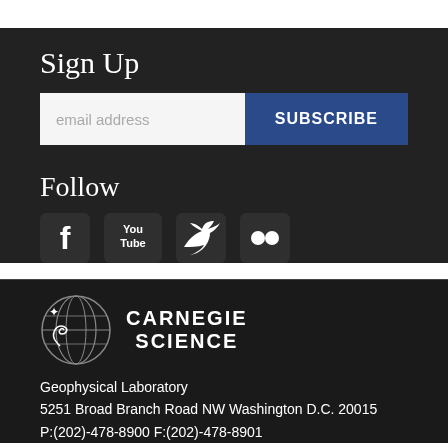Sign Up
email address | SUBSCRIBE
Follow
[Figure (illustration): Social media icons: Facebook, YouTube, Twitter, Flickr]
[Figure (logo): Carnegie Science logo with globe/fish illustration and text CARNEGIE SCIENCE]
Geophysical Laboratory
5251 Broad Branch Road NW Washington D.C. 20015
P:(202)-478-8900 F:(202)-478-8901
Copyright © 2022 Carnegie Science. All rights reserved. Privacy Policy